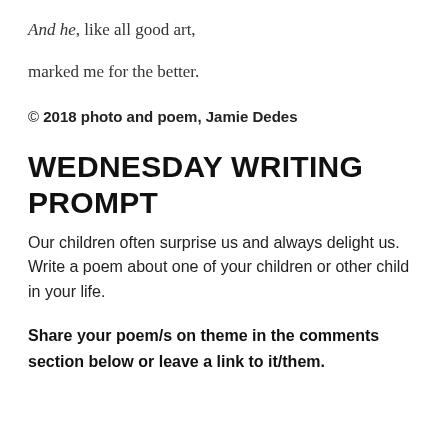And he, like all good art,
marked me for the better.
© 2018 photo and poem, Jamie Dedes
WEDNESDAY WRITING PROMPT
Our children often surprise us and always delight us. Write a poem about one of your children or other child in your life.
Share your poem/s on theme in the comments section below or leave a link to it/them.